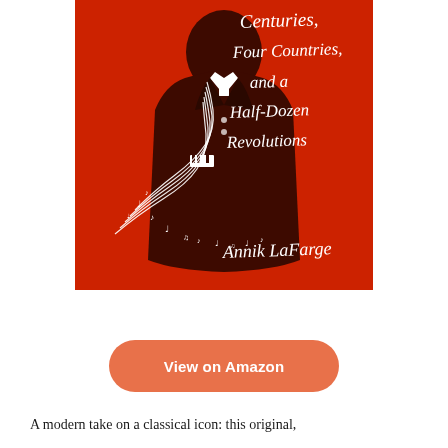[Figure (illustration): Book cover with red background showing a dark silhouette of a person in a suit with musical staff lines and notes wrapping around them. Handwritten-style text reads 'Centuries, Four Countries, and a Half-Dozen Revolutions' and 'Annik LaFarge' at the bottom.]
View on Amazon
A modern take on a classical icon: this original,